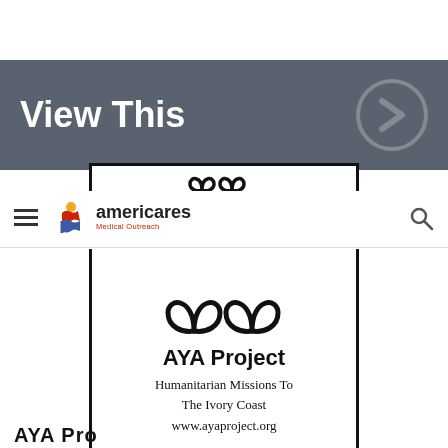View This
[Figure (logo): Americares Medical Outreach logo with hamburger menu and search icon in navigation bar]
[Figure (logo): AYA Project card with symbol, title 'AYA Project', subtitle 'Humanitarian Missions To The Ivory Coast', and URL 'www.ayaproject.org']
AYA Project
Humanitarian Missions To The Ivory Coast
www.ayaproject.org